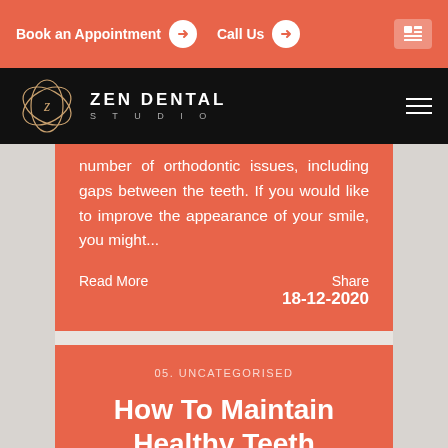Book an Appointment  Call Us
ZEN DENTAL STUDIO
number of orthodontic issues, including gaps between the teeth. If you would like to improve the appearance of your smile, you might...
Read More    Share 18-12-2020
05. UNCATEGORISED
How To Maintain Healthy Teeth
At Zen Dental Studio, we have an appointment